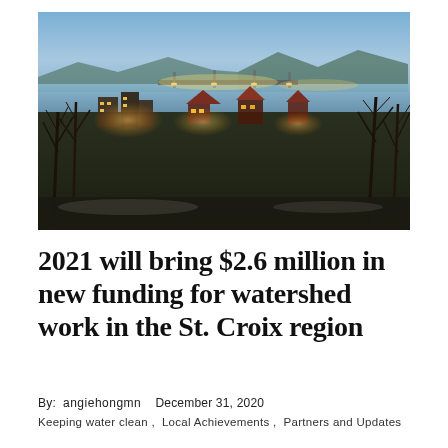[Figure (photo): Aerial winter evening view of a riverside town (St. Croix region) with city lights, bare trees in foreground, a river and bridge visible in the background, and blue dusk sky.]
2021 will bring $2.6 million in new funding for watershed work in the St. Croix region
By: angiehongmn   December 31, 2020
Keeping water clean ,  Local Achievements ,  Partners and Updates